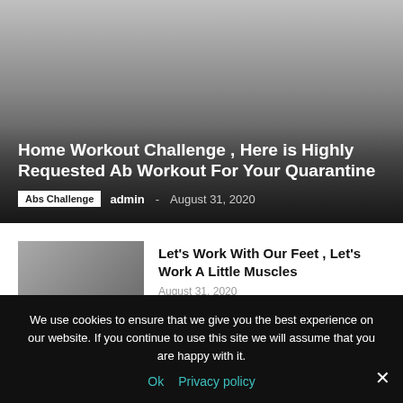[Figure (photo): Hero image with dark gradient overlay showing a home workout / ab workout themed article header]
Home Workout Challenge , Here is Highly Requested Ab Workout For Your Quarantine
Abs Challenge  admin  -  August 31, 2020
Let's Work With Our Feet , Let's Work A Little Muscles
August 31, 2020
We use cookies to ensure that we give you the best experience on our website. If you continue to use this site we will assume that you are happy with it.
Ok  Privacy policy